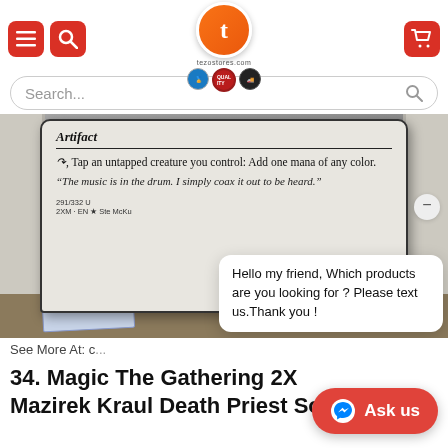Navigation header with menu, search, logo, and cart icons
Search...
[Figure (photo): Product photo of a soft blanket draped on a sofa, showing a Magic: The Gathering card design printed on the blanket. The card text reads: Artifact — Tap an untapped creature you control: Add one mana of any color. Flavor text: "The music is in the drum. I simply coax it out to be heard." Collector number 291/332 U, 2XM EN, illus. Ste McKu]
See More At: c...
Hello my friend, Which products are you looking for ? Please text us.Thank you !
34. Magic The Gathering 2X... Mazirek Kraul Death Priest Soft